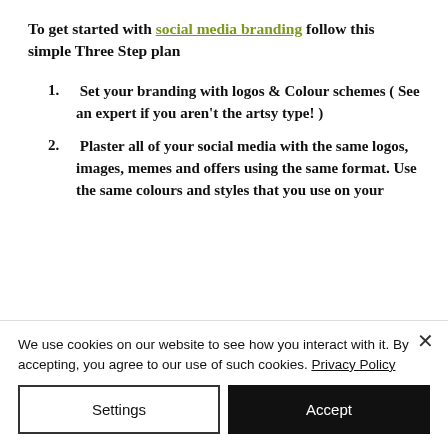To get started with social media branding follow this simple Three Step plan
1. Set your branding with logos & Colour schemes ( See an expert if you aren't the artsy type! )
2. Plaster all of your social media with the same logos, images, memes and offers using the same format. Use the same colours and styles that you use on your
We use cookies on our website to see how you interact with it. By accepting, you agree to our use of such cookies. Privacy Policy
Settings | Accept